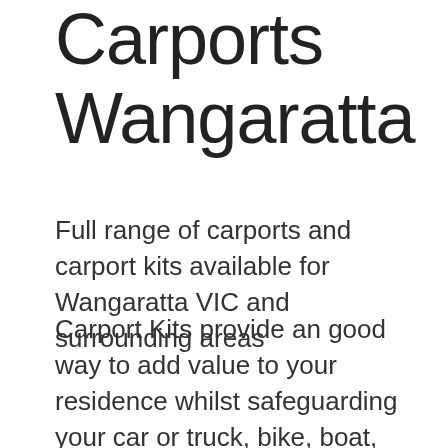Carports Wangaratta
Full range of carports and carport kits available for Wangaratta VIC and surrounding areas
Carport Kits provide an good way to add value to your residence whilst safeguarding your car or truck, bike, boat, caravan etc. Choosing the ultimate type of carport for you will make sure you get the highest added appeal for your house. From Skillion Carports to Gable, Dutch Gable and Hip Roof Carports, there's carport designs and